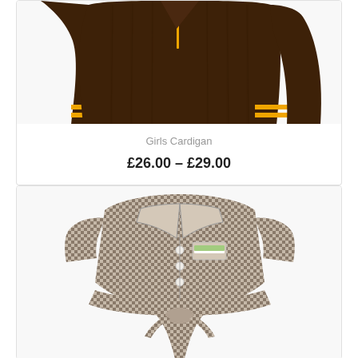[Figure (photo): Brown girls cardigan with yellow stripe trim on cuffs and zipper detail at collar, shown flat against white background]
Girls Cardigan
£26.00 – £29.00
[Figure (photo): Grey checkered short-sleeve girls dress/tunic with collar, buttons down front, chest pocket with white label, and tie belt at waist]